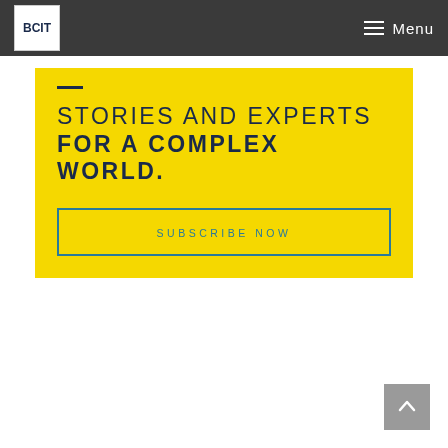BCIT — Menu
STORIES AND EXPERTS FOR A COMPLEX WORLD.
SUBSCRIBE NOW